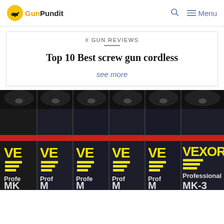GunPundit — Menu
# GUN REVIEWS
Top 10 Best screw gun cordless
see more
[Figure (photo): Six VEXOR Professional MK-3 pepper spray canisters with black caps, red band, and yellow VEXOR branding on dark blue labels, arranged side by side]